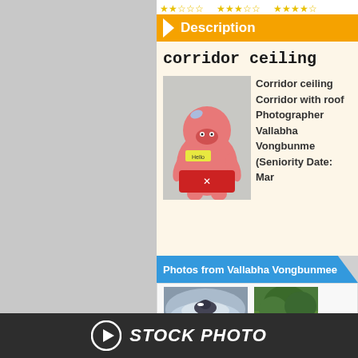[Figure (screenshot): Web page screenshot showing a stock photo site. Contains orange 'Description' header, product title 'corridor ceiling', text about 'Corridor ceiling Corridor with roof Photographer Vallabha Vongbunme (Seniority Date: Mar', a toy figure photo, a blue 'Photos from Vallabha Vongbunmee' section header, two thumbnail photos (birds in water, green trees), and a dark footer with 'STOCK PHOTO' logo.]